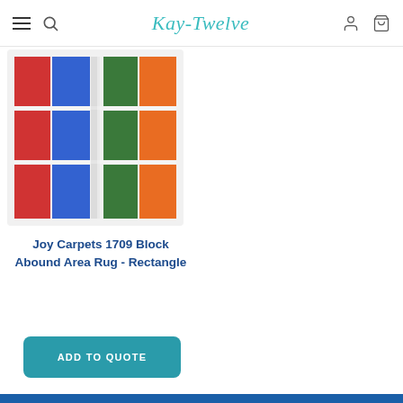Kay-Twelve
[Figure (photo): Colorful area rug showing red, blue, green, and orange block pattern]
Joy Carpets 1709 Block Abound Area Rug - Rectangle
ADD TO QUOTE